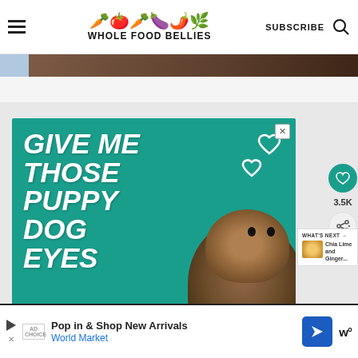[Figure (screenshot): Website header for Whole Food Bellies with hamburger menu, vegetable emoji logo, site name, SUBSCRIBE button, and search icon]
[Figure (photo): Dark brown background image strip at top of content area]
[Figure (illustration): Advertisement with teal background showing text 'GIVE ME THOSE PUPPY DOG EYES' with a dog illustration, hearts, and close button]
3.5K
WHAT'S NEXT → Chia Lime and Ginger...
[Figure (screenshot): Bottom advertisement bar: 'Pop in & Shop New Arrivals World Market' with play button, advertiser logo, and World Market arrow logo]